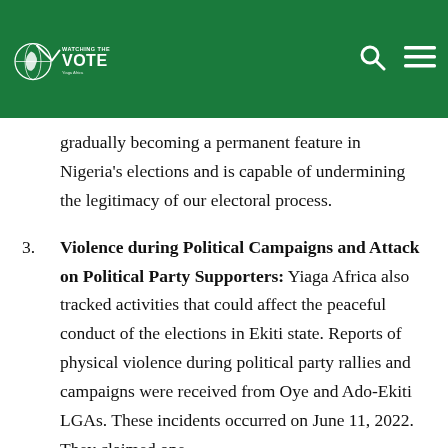Watching the Vote – Yiaga Africa
gradually becoming a permanent feature in Nigeria's elections and is capable of undermining the legitimacy of our electoral process.
3. Violence during Political Campaigns and Attack on Political Party Supporters: Yiaga Africa also tracked activities that could affect the peaceful conduct of the elections in Ekiti state. Reports of physical violence during political party rallies and campaigns were received from Oye and Ado-Ekiti LGAs. These incidents occurred on June 11, 2022. They claimed one